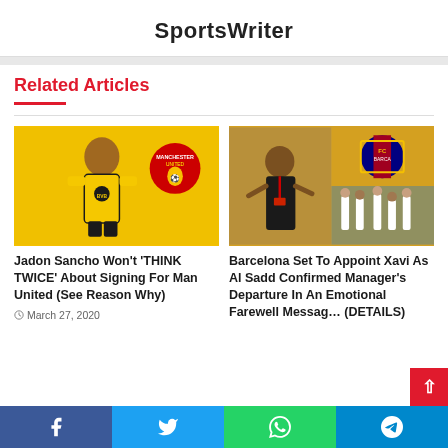SportsWriter
Related Articles
[Figure (photo): Jadon Sancho in yellow BVB Borussia Dortmund kit with Manchester United badge overlay]
Jadon Sancho Won't ‘THINK TWICE’ About Signing For Man United (See Reason Why)
March 27, 2020
[Figure (photo): Collage: Xavi gesturing on touchline and FC Barcelona badge and players celebrating]
Barcelona Set To Appoint Xavi As Al Sadd Confirmed Manager’s Departure In An Emotional Farewell Message (DETAILS)